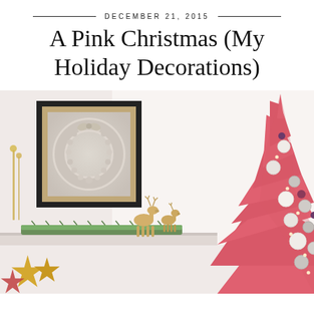DECEMBER 21, 2015
A Pink Christmas (My Holiday Decorations)
[Figure (photo): Holiday mantel decoration with a white wreath in a black frame, gold reindeer figurines on a pine garland, and a pink Christmas tree decorated with silver and white ornaments. Gold star decorations visible in the foreground bottom left.]